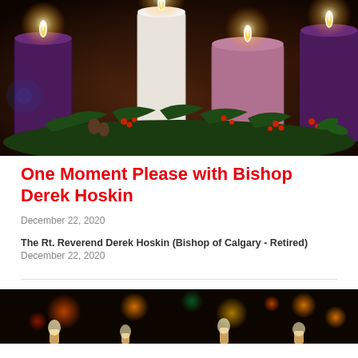[Figure (photo): Advent candles arrangement: purple, white, pink candles with evergreen and red berries decoration on dark warm background]
One Moment Please with Bishop Derek Hoskin
December 22, 2020
The Rt. Reverend Derek Hoskin (Bishop of Calgary - Retired)
December 22, 2020
[Figure (photo): Dark background with warm bokeh candlelight glow, candle flames visible at bottom edge]